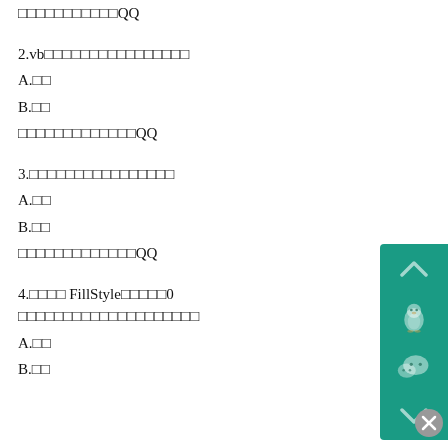□□□□□□□□□□□QQ
2.vb□□□□□□□□□□□□□□□□
A.□□
B.□□
□□□□□□□□□□□□□QQ
3.□□□□□□□□□□□□□□□□
A.□□
B.□□
□□□□□□□□□□□□□QQ
4.□□□□ FillStyle□□□□□0 □□□□□□□□□□□□□□□□□□□□
A.□□
B.□□